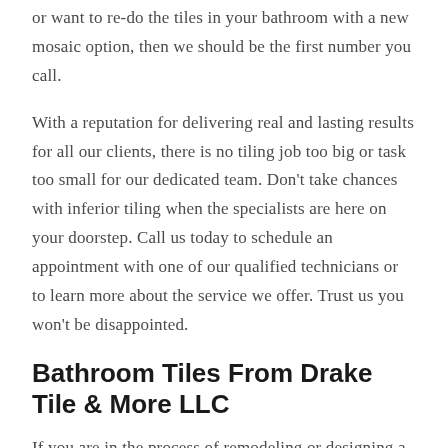or want to re-do the tiles in your bathroom with a new mosaic option, then we should be the first number you call.
With a reputation for delivering real and lasting results for all our clients, there is no tiling job too big or task too small for our dedicated team. Don't take chances with inferior tiling when the specialists are here on your doorstep. Call us today to schedule an appointment with one of our qualified technicians or to learn more about the service we offer. Trust us you won't be disappointed.
Bathroom Tiles From Drake Tile & More LLC
If you are in the process of remodeling or designing a new bathroom from scratch, then you already know that there is a